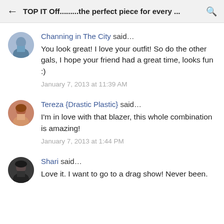TOP IT Off.........the perfect piece for every ...
Channing in The City said…
You look great! I love your outfit! So do the other gals, I hope your friend had a great time, looks fun :)
January 7, 2013 at 11:39 AM
Tereza {Drastic Plastic} said…
I'm in love with that blazer, this whole combination is amazing!
January 7, 2013 at 1:44 PM
Shari said…
Love it. I want to go to a drag show! Never been.